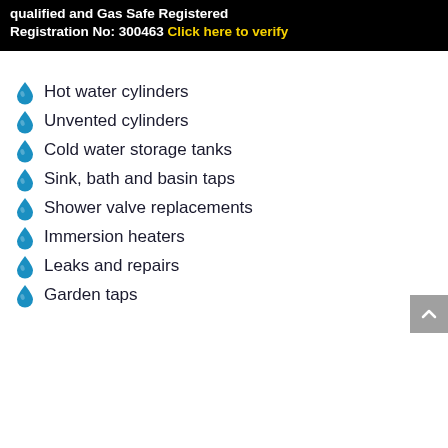qualified and Gas Safe Registered Registration No: 300463 Click here to verify
Hot water cylinders
Unvented cylinders
Cold water storage tanks
Sink, bath and basin taps
Shower valve replacements
Immersion heaters
Leaks and repairs
Garden taps